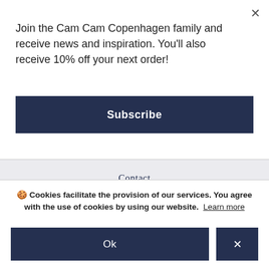Join the Cam Cam Copenhagen family and receive news and inspiration. You'll also receive 10% off your next order!
Subscribe
Contact
Refund policy
Product Recall
ABOUT CAM CAM COPENHAGEN
About us
Cookies facilitate the provision of our services. You agree with the use of cookies by using our website. Learn more
Ok